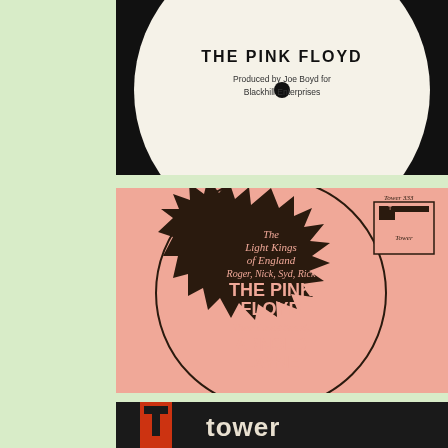[Figure (photo): Top portion of a vinyl record label showing 'THE PINK FLOYD' in bold text, 'Produced by Joe Boyd for Blackhill Enterprises' below, white label on black vinyl record]
[Figure (photo): Pink Floyd 'Arnold Layne' US Tower Records single sleeve, pink background with large dark starburst circle containing text: 'The Light Kings of England Roger, Nick, Syd, Rick THE PINK FLOYD Their Latest Smash ARNOLD LAYNE', Tower Records logo in top right corner]
[Figure (photo): Bottom portion of Tower Records label showing 'tower' text in lowercase with Tower logo block on dark background]